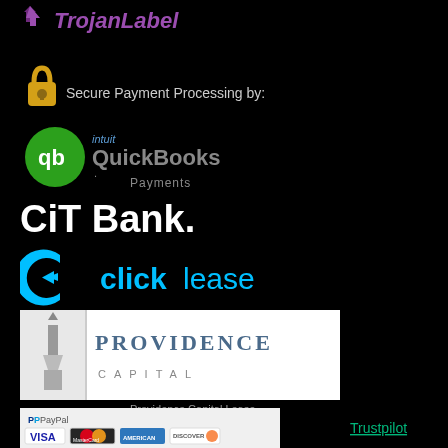[Figure (logo): TrojanLabel logo in purple/violet color with checkmark icon]
[Figure (infographic): Gold padlock icon with text 'Secure Payment Processing by:']
[Figure (logo): Intuit QuickBooks Payments logo - green circle with 'qb', intuit text above, QuickBooks. Payments below]
[Figure (logo): CIT Bank. logo in white bold text on black background]
[Figure (logo): clicklease logo in cyan/blue with C arrow icon]
[Figure (logo): Providence Capital logo - lighthouse icon with PROVIDENCE CAPITAL text in white/grey banner]
Providence Capital Lease
[Figure (logo): PayPal payment methods banner showing PayPal, VISA, MasterCard, American Express, DISCOVER logos]
[Figure (logo): Trustpilot link in cyan/blue underlined text]